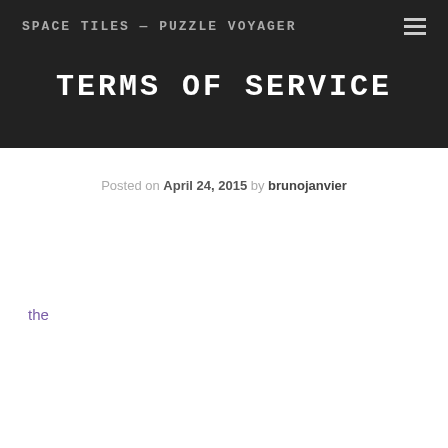SPACE TILES — PUZZLE VOYAGER
TERMS OF SERVICE
Posted on April 24, 2015 by brunojanvier
the